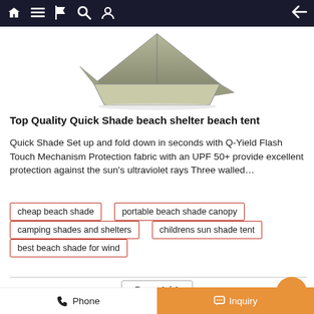Navigation bar with home, menu, flag, search, profile icons and back arrow
[Figure (photo): Product photo of a quick shade beach tent/shelter, olive/khaki colored, shown partially from above]
Top Quality Quick Shade beach shelter beach tent
Quick Shade Set up and fold down in seconds with Q-Yield Flash Touch Mechanism Protection fabric with an UPF 50+ provide excellent protection against the sun's ultraviolet rays Three walled…
cheap beach shade
portable beach shade canopy
camping shades and shelters
childrens sun shade tent
best beach shade for wind
Page 1 / 1
Phone   Inquiry